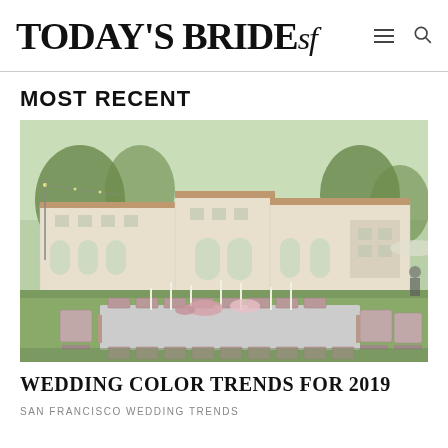TODAY'S BRIDEsf
MOST RECENT
[Figure (photo): Outdoor wedding reception table set up on a lawn in front of a large white estate building. Long rectangular table with sequined tablecloth, pink/mauve chairs, candles, and floral centerpieces.]
WEDDING COLOR TRENDS FOR 2019
SAN FRANCISCO WEDDING TRENDS